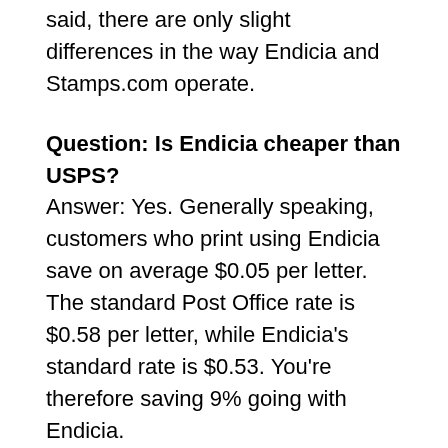said, there are only slight differences in the way Endicia and Stamps.com operate.
Question: Is Endicia cheaper than USPS?
Answer: Yes. Generally speaking, customers who print using Endicia save on average $0.05 per letter. The standard Post Office rate is $0.58 per letter, while Endicia's standard rate is $0.53. You're therefore saving 9% going with Endicia.
Question: Is Endicia a USPS?
Answer: Endicia is an independent service. It integrates USPS into your sales channel in a way that wasn't possible before since USPS doesn't have any public API. With Endicia, you'll print